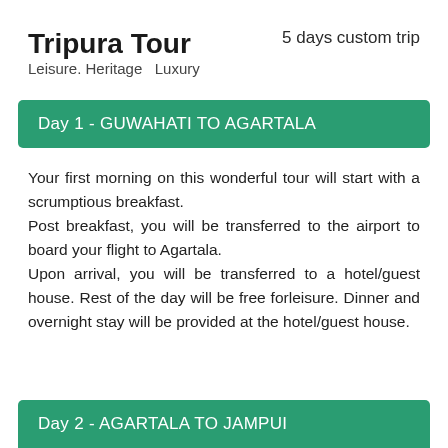Tripura Tour
5 days custom trip
Leisure. Heritage  Luxury
Day 1 - GUWAHATI TO AGARTALA
Your first morning on this wonderful tour will start with a scrumptious breakfast. Post breakfast, you will be transferred to the airport to board your flight to Agartala. Upon arrival, you will be transferred to a hotel/guest house. Rest of the day will be free forleisure. Dinner and overnight stay will be provided at the hotel/guest house.
Day 2 - AGARTALA TO JAMPUI